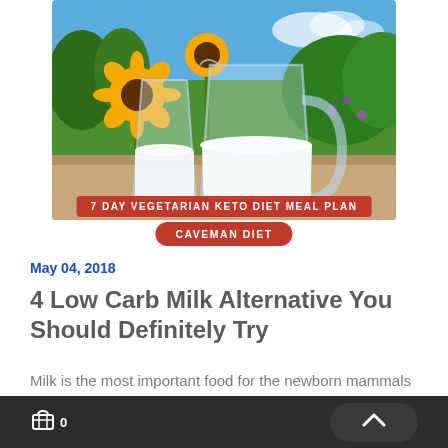[Figure (photo): A glass and pitcher of white milk set against a background of green plants, sunflowers, and blue sky outdoors.]
7 DAY VEGETARIAN KETO DIET MEAL PLAN
CAVEMAN DIET
May 04, 2018
4 Low Carb Milk Alternative You Should Definitely Try
Milk is the most important food for the newborn mammals to survive. Milk supplies high caloric values…